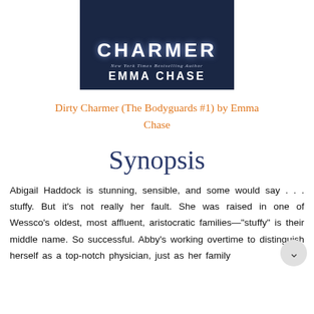[Figure (illustration): Book cover of 'Dirty Charmer' showing the title 'CHARMER' in large white letters, subtitle 'New York Times Bestselling Author' in italic, and author name 'EMMA CHASE' in large white letters on a dark navy background.]
Dirty Charmer (The Bodyguards #1) by Emma Chase
Synopsis
Abigail Haddock is stunning, sensible, and some would say . . . stuffy. But it's not really her fault. She was raised in one of Wessco's oldest, most affluent, aristocratic families—"stuffy" is their middle name. So successful. Abby's working overtime to distinguish herself as a top-notch physician, just as her family